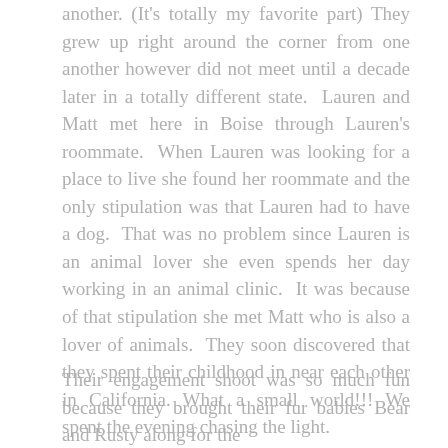another. (It's totally my favorite part) They grew up right around the corner from one another however did not meet until a decade later in a totally different state. Lauren and Matt met here in Boise through Lauren's roommate. When Lauren was looking for a place to live she found her roommate and the only stipulation was that Lauren had to have a dog. That was no problem since Lauren is an animal lover she even spends her day working in an animal clinic. It was because of that stipulation she met Matt who is also a lover of animals. They soon discovered that they spent their childhood in near each other in California. What a small world!!! We spent the evening chasing the light.
Their engagement shoot was so much fun because they brought their fur babies Bear and Rusty along for the